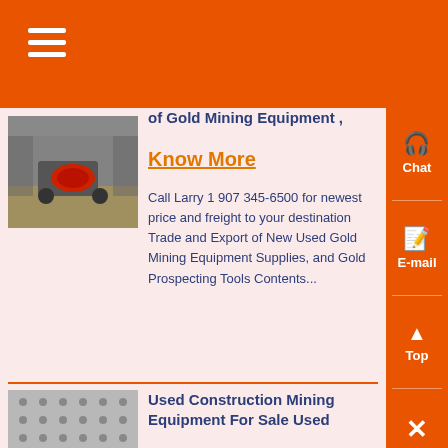[Figure (photo): Industrial mining equipment on factory floor, red roller machine visible]
Gold Mining Tools Chain of Gold Mining Equipment,
Know More
Call Larry 1 907 345-6500 for newest price and freight to your destination Trade and Export of New Used Gold Mining Equipment Supplies, and Gold Prospecting Tools Contents...
[Figure (photo): Metal perforated sheet or screen panel with evenly spaced holes]
Used Construction Mining Equipment For Sale Used
Know More
Some of the advantages of choosing used construction